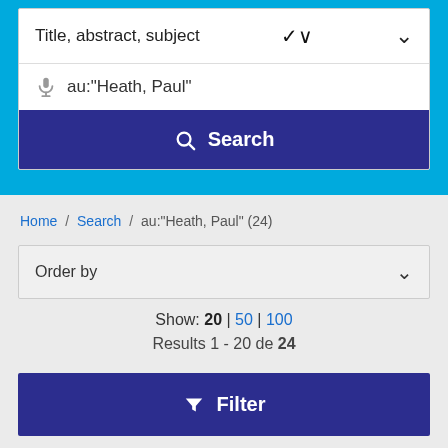Title, abstract, subject
au:"Heath, Paul"
Search
Home / Search / au:"Heath, Paul" (24)
Order by
Show: 20 | 50 | 100
Results 1 - 20 de 24
Filter